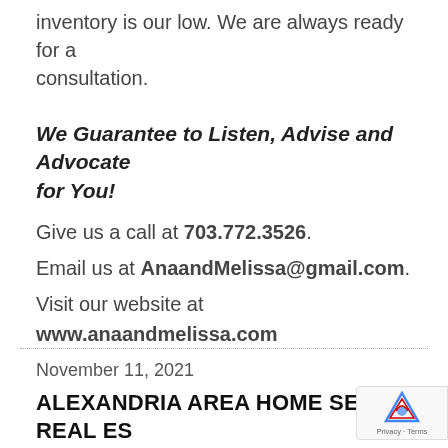inventory is our low. We are always ready for a consultation.
We Guarantee to Listen, Advise and Advocate for You!
Give us a call at 703.772.3526.
Email us at AnaandMelissa@gmail.com.
Visit our website at www.anaandmelissa.com
November 11, 2021
ALEXANDRIA AREA HOME SETS REAL ES... RECORD